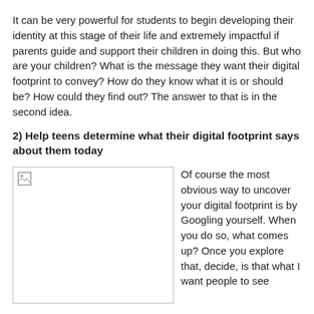It can be very powerful for students to begin developing their identity at this stage of their life and extremely impactful if parents guide and support their children in doing this. But who are your children? What is the message they want their digital footprint to convey? How do they know what it is or should be? How could they find out? The answer to that is in the second idea.
2) Help teens determine what their digital footprint says about them today
[Figure (photo): A placeholder image (broken image icon visible) — rectangular image area with border]
Of course the most obvious way to uncover your digital footprint is by Googling yourself. When you do so, what comes up? Once you explore that, decide, is that what I want people to see